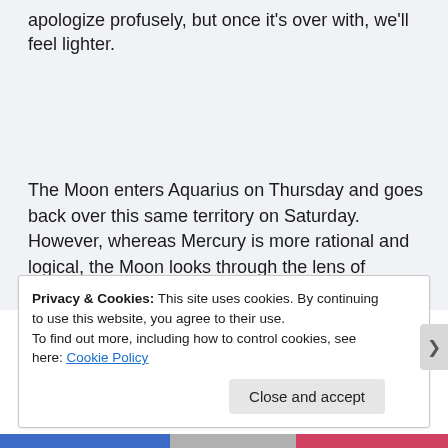apologize profusely, but once it's over with, we'll feel lighter.
The Moon enters Aquarius on Thursday and goes back over this same territory on Saturday. However, whereas Mercury is more rational and logical, the Moon looks through the lens of emotions. Thoughts and feelings are two different perspectives on the truth. Honor your own feelings and those of others.
Privacy & Cookies: This site uses cookies. By continuing to use this website, you agree to their use.
To find out more, including how to control cookies, see here: Cookie Policy
Close and accept